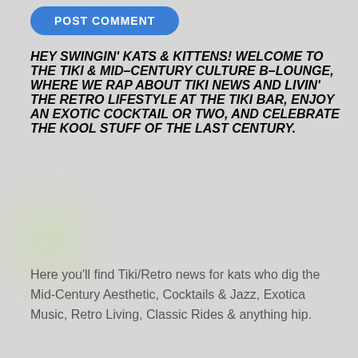[Figure (other): Blue rounded POST COMMENT button]
HEY SWINGIN' KATS & KITTENS! WELCOME TO THE TIKI & MID-CENTURY CULTURE B-LOUNGE, WHERE WE RAP ABOUT TIKI NEWS AND LIVIN' THE RETRO LIFESTYLE AT THE TIKI BAR, ENJOY AN EXOTIC COCKTAIL OR TWO, AND CELEBRATE THE KOOL STUFF OF THE LAST CENTURY.
Here you'll find Tiki/Retro news for kats who dig the Mid-Century Aesthetic, Cocktails & Jazz, Exotica Music, Retro Living, Classic Rides & anything hip.
[Figure (illustration): Black banner with green border reading 'What is TIKI CULTURE?' in white italic and yellow bold italic text]
[Figure (illustration): Black banner with green border reading 'How To Build A TIKI BAR' in white italic and yellow bold italic text]
[Figure (illustration): Black banner with green border reading 'GREAT NEW BOOKS For Tiki & Retro' in white and yellow text]